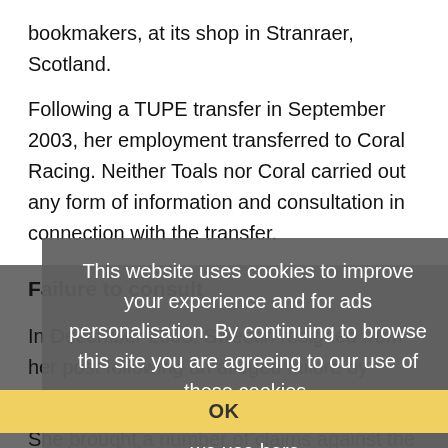bookmakers, at its shop in Stranraer, Scotland.
Following a TUPE transfer in September 2003, her employment transferred to Coral Racing. Neither Toals nor Coral carried out any form of information and consultation in connection with the transfer.
Failure to consult
In December 2003, Sweetin resigned from her post following an alleged failure by Coral to deal with an unrelated grievance.
She brought a number of claims against the company, including a claim for compensation for the failure to inform and consult her about the transfer.
This website uses cookies to improve your experience and for ads personalisation. By continuing to browse this site you are agreeing to our use of these cookies. You can learn more about the cookies we use here.
OK
Under the 1981 TUPE regulations, if an employer fails to